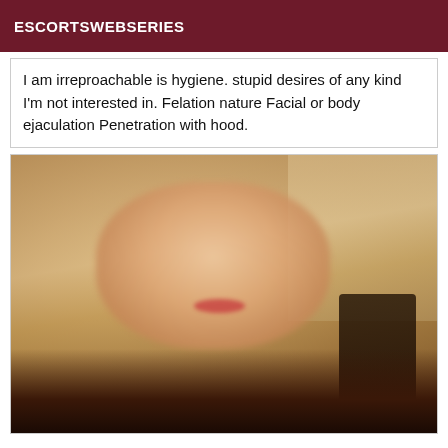ESCORTSWEBSERIES
I am irreproachable is hygiene. stupid desires of any kind I'm not interested in. Felation nature Facial or body ejaculation Penetration with hood.
[Figure (photo): Blurred photo of a blonde woman wearing a black top, seated near a dark wooden chair, in an indoor setting]